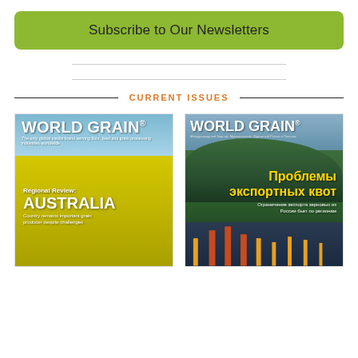Subscribe to Our Newsletters
CURRENT ISSUES
[Figure (illustration): World Grain magazine cover — Regional Review: AUSTRALIA. Country remains important grain producer despite challenges. Yellow canola field with blue sky.]
[Figure (illustration): World Grain magazine cover in Russian — Проблемы экспортных квот (Export quota problems). Ограничение экспорта зерновых из России бьет по регионам. Port with mountains in background.]